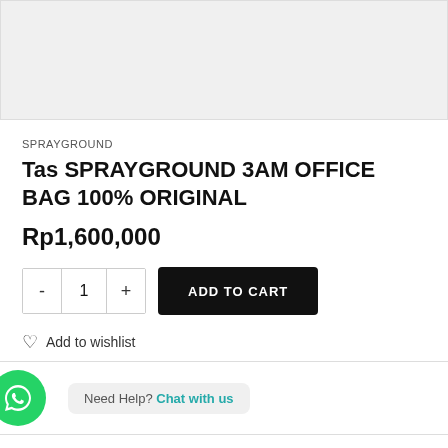[Figure (photo): Product image area — light gray placeholder for SPRAYGROUND 3AM OFFICE BAG]
SPRAYGROUND
Tas SPRAYGROUND 3AM OFFICE BAG 100% ORIGINAL
Rp1,600,000
- 1 + ADD TO CART
Add to wishlist
Need Help? Chat with us
ADDITIONAL INFORMATION